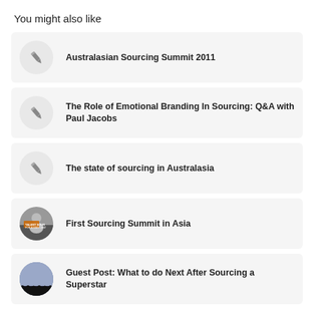You might also like
Australasian Sourcing Summit 2011
The Role of Emotional Branding In Sourcing: Q&A with Paul Jacobs
The state of sourcing in Australasia
First Sourcing Summit in Asia
Guest Post: What to do Next After Sourcing a Superstar